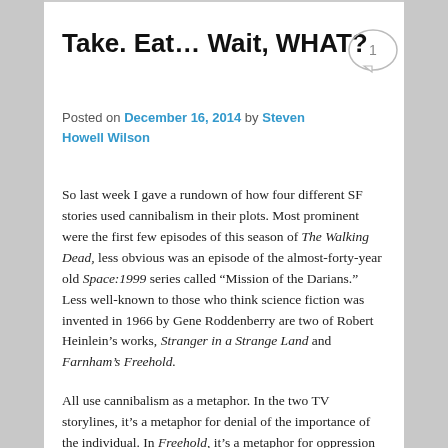Take. Eat… Wait, WHAT?
Posted on December 16, 2014 by Steven Howell Wilson
So last week I gave a rundown of how four different SF stories used cannibalism in their plots. Most prominent were the first few episodes of this season of The Walking Dead, less obvious was an episode of the almost-forty-year old Space:1999 series called “Mission of the Darians.” Less well-known to those who think science fiction was invented in 1966 by Gene Roddenberry are two of Robert Heinlein’s works, Stranger in a Strange Land and Farnham’s Freehold.
All use cannibalism as a metaphor. In the two TV storylines, it’s a metaphor for denial of the importance of the individual. In Freehold, it’s a metaphor for oppression of one group by another. In Stranger, it’s a metaphor for strangeness, alien-ness, and acceptance of the universe.